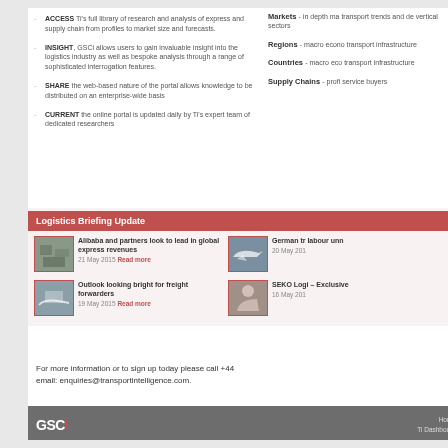ACCESS Ti's full library of research and analysis of express and supply chain from profiles to market size and forecasts.
INSIGHT, GSCi allows users to gain invaluable insight into the logistics industry as well as bespoke analysis through a range of sophisticated interrogation features.
SHARE the web-based nature of the portal allows knowledge to be distributed on an enterprise-wide basis
CURRENT the online portal is updated daily by Ti's expert team of dedicated researchers
Markets - in depth market transport trends and de vertical sectors
Regions - macro econo transport infrastructure
Countries - macro eco transport infrastructure
Supply Chains - profi service buyers
Logistics Briefing Update
Alibaba and partners look to lead in global express revenues
21 May 2015  Read more
German tr labour unn 20 May 201
Outlook looking bright for freight forwarders
19 May 2015  Read more
SEKO Logi – Exclusive 16 May 201
For more information or to sign up today please call +44 email: enquiries@transportintelligence.com.
GSCi  Home  Ti Dashboard